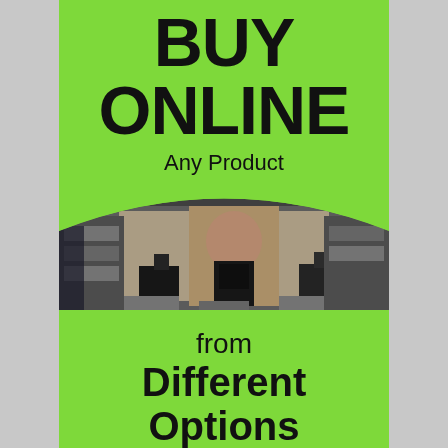BUY ONLINE
Any Product
[Figure (photo): A retail store display with handbags, shoes, and a large face advertisement poster, viewed through a glass window with reflections. The image is framed by an arch shape cut into the green background.]
from Different Options